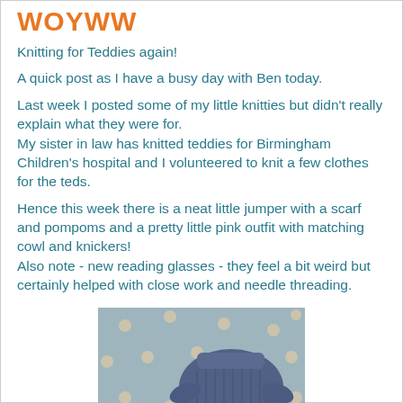WOYWW
Knitting for Teddies again!
A quick post as I have a busy day with Ben today.
Last week I posted some of my little knitties but didn't really explain what they were for.
My sister in law has knitted teddies for Birmingham Children's hospital and I volunteered to knit a few clothes for the teds.
Hence this week there is a neat little jumper with a scarf and pompoms and a pretty little pink outfit with matching cowl and knickers!
Also note - new reading glasses - they feel a bit weird but certainly helped with close work and needle threading.
[Figure (photo): Photo of knitted teddy clothes (blue knitted jumper and scarf with pompom) laid on a spotted fabric background with a spool of blue thread nearby.]